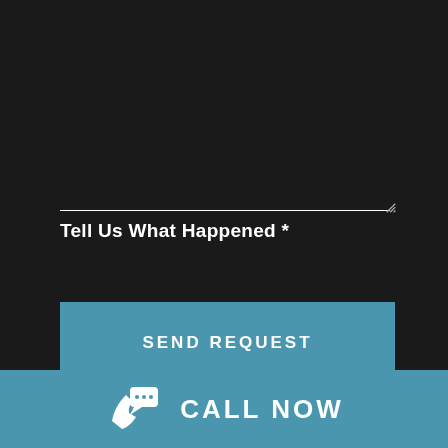Tell Us What Happened *
SEND REQUEST
CALL NOW